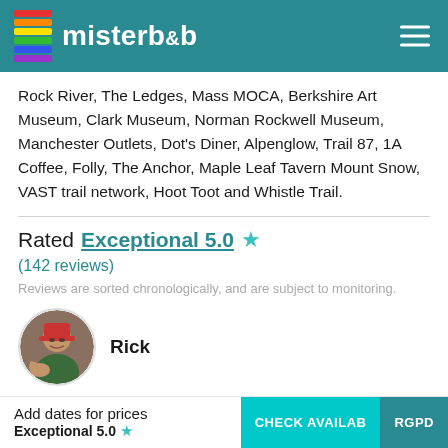misterb&b
Rock River, The Ledges, Mass MOCA, Berkshire Art Museum, Clark Museum, Norman Rockwell Museum, Manchester Outlets, Dot's Diner, Alpenglow, Trail 87, 1A Coffee, Folly, The Anchor, Maple Leaf Tavern Mount Snow, VAST trail network, Hoot Toot and Whistle Trail.
Rated Exceptional 5.0 ★
(142 reviews)
Reviews are sorted chronologically, and are subject to monitoring.
Rick
Add dates for prices
Exceptional 5.0 ★
CHECK AVAILAB
RGPD